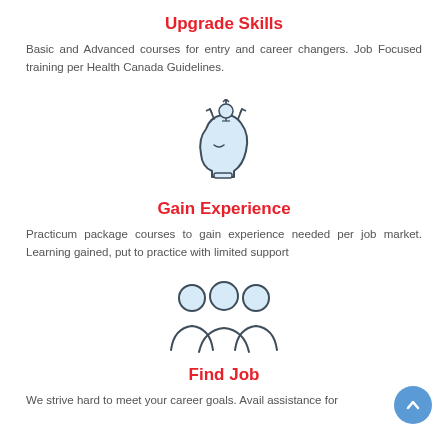Upgrade Skills
Basic and Advanced courses for entry and career changers. Job Focused training per Health Canada Guidelines.
[Figure (illustration): Icon of a human head silhouette with a light bulb and arrows above, representing ideas and learning, in light blue and dark gray outline style.]
Gain Experience
Practicum package courses to gain experience needed per job market. Learning gained, put to practice with limited support
[Figure (illustration): Icon of three people (group) with circular heads and curved body outlines, representing a team or community, in light blue and dark gray outline style.]
Find Job
We strive hard to meet your career goals. Avail assistance for